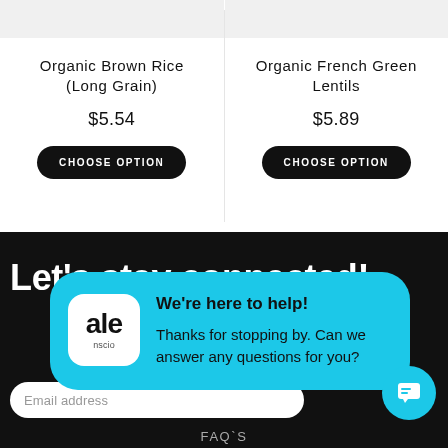Organic Brown Rice (Long Grain)
$5.54
CHOOSE OPTION
Organic French Green Lentils
$5.89
CHOOSE OPTION
Let's stay connected!
[Figure (screenshot): Live chat popup with cyan background showing 'ale nscio' logo, 'We're here to help!' title and 'Thanks for stopping by. Can we answer any questions for you?' message]
Email address
FAQ`S